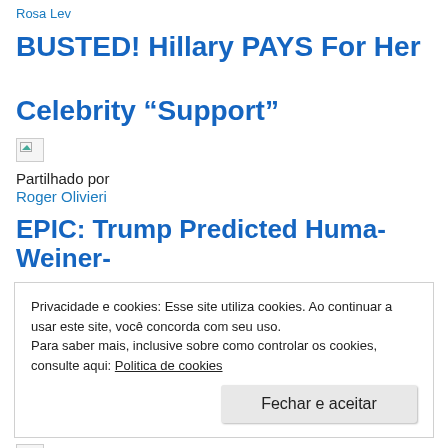Rosa Lev
BUSTED! Hillary PAYS For Her Celebrity “Support”
[Figure (other): Broken/missing image placeholder]
Partilhado por
Roger Olivieri
EPIC: Trump Predicted Huma-Weiner-
Privacidade e cookies: Esse site utiliza cookies. Ao continuar a usar este site, você concorda com seu uso.
Para saber mais, inclusive sobre como controlar os cookies, consulte aqui: Politica de cookies
Fechar e aceitar
[Figure (other): Broken/missing image placeholder]